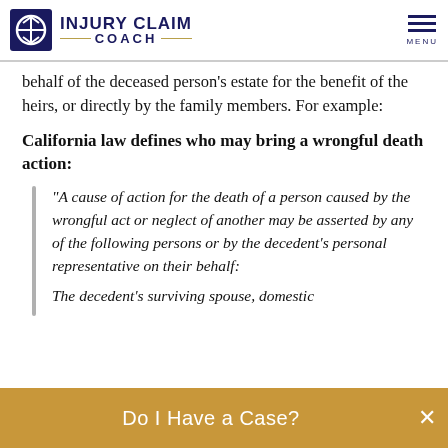INJURY CLAIM COACH
behalf of the deceased person's estate for the benefit of the heirs, or directly by the family members. For example:
California law defines who may bring a wrongful death action:
“A cause of action for the death of a person caused by the wrongful act or neglect of another may be asserted by any of the following persons or by the decedent’s personal representative on their behalf: The decedent’s surviving spouse, domestic
Do I Have a Case?